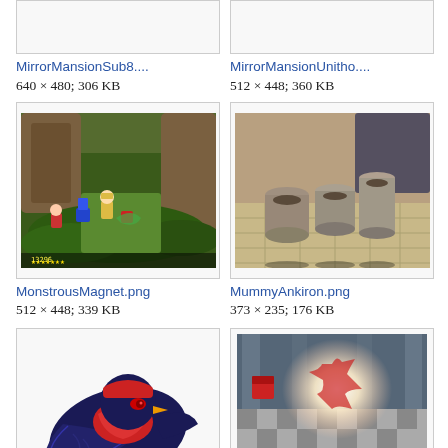[Figure (screenshot): Partial thumbnail of MirrorMansionSub8 image, top portion cut off, light gray box]
MirrorMansionSub8....
640 × 480; 306 KB
[Figure (screenshot): Partial thumbnail of MirrorMansionUnitho image, top portion cut off, light gray box]
MirrorMansionUnitho....
512 × 448; 360 KB
[Figure (screenshot): MonstrousMagnet.png - video game screenshot showing colorful 3D scene with characters on rocky terrain]
MonstrousMagnet.png
512 × 448; 339 KB
[Figure (screenshot): MummyAnkiron.png - video game screenshot showing stone cylinder objects on tiled floor]
MummyAnkiron.png
373 × 235; 176 KB
[Figure (illustration): Ninja Crow Model.png - 3D model of a crow character wearing red ninja outfit with yellow feet, dark blue feathers]
Ninja_Crow_Model.png
[Figure (screenshot): NinjaCrow.png - video game screenshot with character battle scene with checkered floor and bright flash effect]
NinjaCrow.png